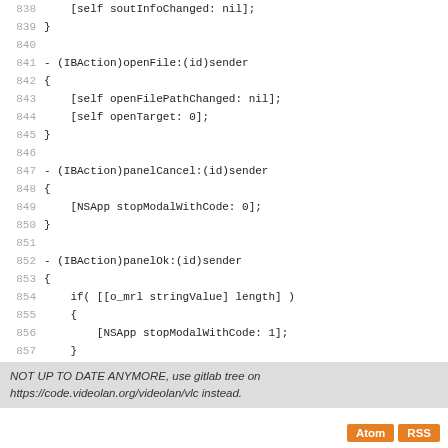Source code lines 838–864: Objective-C implementation showing soutInfoChanged, openFile, panelCancel, and panelOk methods ending with @end
NOT UP TO DATE ANYMORE, use gitlab tree on https://code.videolan.org/videolan/vlc instead.